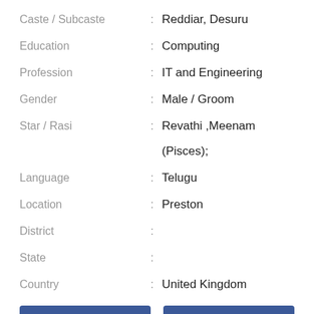Caste / Subcaste : Reddiar, Desuru
Education : Computing
Profession : IT and Engineering
Gender : Male / Groom
Star / Rasi : Revathi ,Meenam (Pisces);
Language : Telugu
Location : Preston
District :
State :
Country : United Kingdom
View Contact
View Full Profile
[Figure (illustration): Default male avatar/profile placeholder illustration in blue outline style]